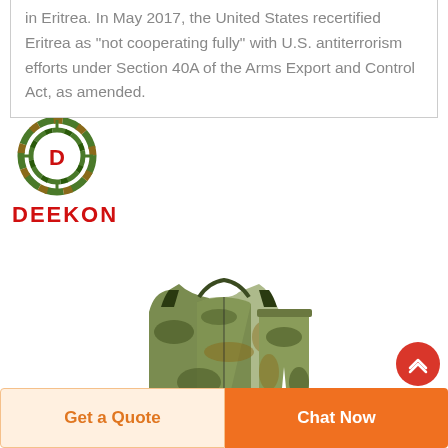in Eritrea. In May 2017, the United States recertified Eritrea as "not cooperating fully" with U.S. antiterrorism efforts under Section 40A of the Arms Export and Control Act, as amended.
[Figure (logo): Deekon logo: camouflage circular emblem with red D in center and DEEKON text in red below]
[Figure (photo): Camouflage military uniform set consisting of jacket and pants with green/brown/black digital camouflage pattern]
Get a Quote
Chat Now